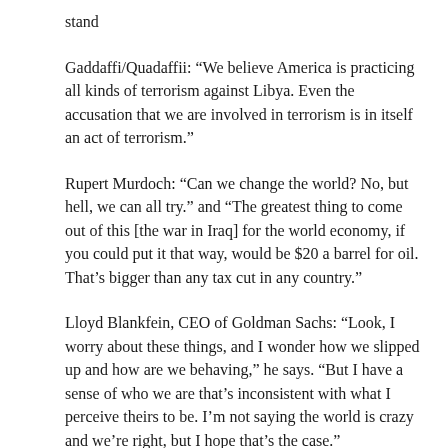stand
Gaddaffi/Quadaffii: “We believe America is practicing all kinds of terrorism against Libya. Even the accusation that we are involved in terrorism is in itself an act of terrorism.”
Rupert Murdoch: “Can we change the world? No, but hell, we can all try.” and “The greatest thing to come out of this [the war in Iraq] for the world economy, if you could put it that way, would be $20 a barrel for oil. That’s bigger than any tax cut in any country.”
Lloyd Blankfein, CEO of Goldman Sachs: “Look, I worry about these things, and I wonder how we slipped up and how are we behaving,” he says. “But I have a sense of who we are that’s inconsistent with what I perceive theirs to be. I’m not saying the world is crazy and we’re right, but I hope that’s the case.”